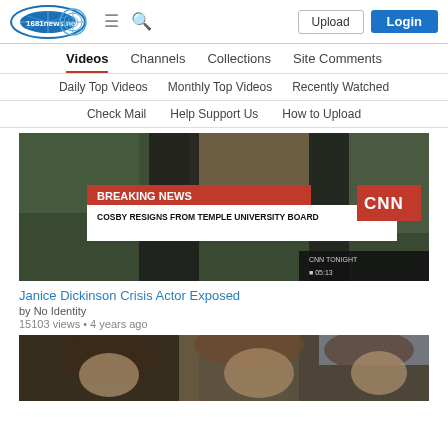teenews.net | Upload | Login
Videos | Channels | Collections | Site Comments
Daily Top Videos | Monthly Top Videos | Recently Watched
Check Mail | Help Support Us | How to Upload
[Figure (screenshot): CNN Breaking News video thumbnail: COSBY RESIGNS FROM TEMPLE UNIVERSITY BOARD, time 05:13]
Janice Dickinson Crisis Actor Exposed
by No Identity
15103 views • 4 years ago
[Figure (screenshot): Second video thumbnail showing people outdoors, partially visible]